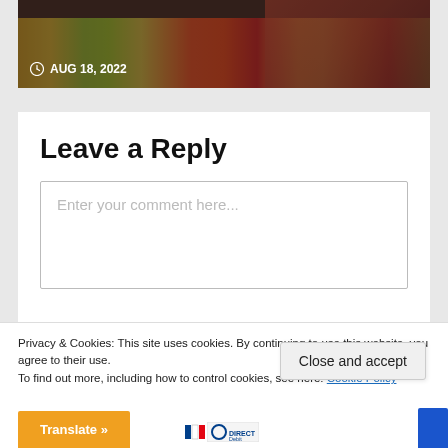[Figure (photo): Photo of colorful cocktail drinks in glasses on a bar counter, with a person in a plaid shirt visible on the right side. Date badge showing AUG 18, 2022 with a clock icon in the bottom left.]
Leave a Reply
Enter your comment here...
Privacy & Cookies: This site uses cookies. By continuing to use this website, you agree to their use.
To find out more, including how to control cookies, see here: Cookie Policy
Close and accept
Translate »